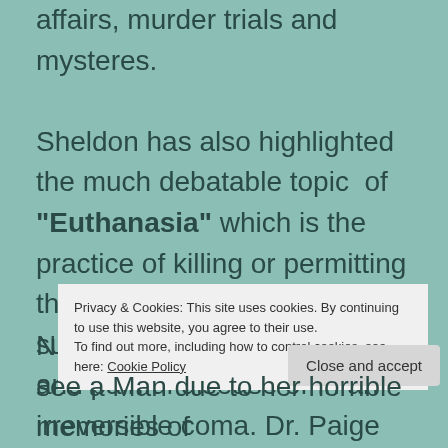affairs, murder trials and mysteries. Sheldon has also highlighted the much debatable topic of "Euthanasia" which is the practice of killing or permitting the death of hopeless patient suffering from an incurable and painful disease or in an irreversible coma. Dr. Paige comes into account with treatment of such patient who demands her to kill him due to his incurable suffering because of which she f... s...
Privacy & Cookies: This site uses cookies. By continuing to use this website, you agree to their use.
To find out more, including how to control cookies, see here: Cookie Policy
N... see a Man due to her horrible memories of